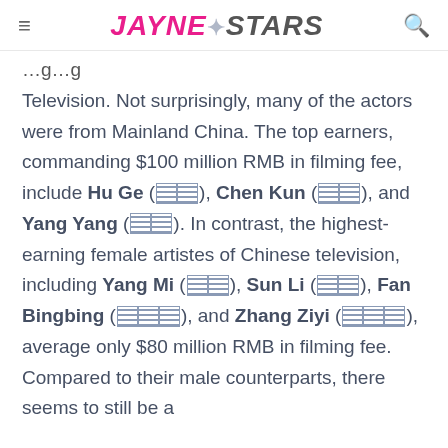JayneStars
Television. Not surprisingly, many of the actors were from Mainland China. The top earners, commanding $100 million RMB in filming fee, include Hu Ge (胡歌), Chen Kun (陈坤), and Yang Yang (杨洋). In contrast, the highest-earning female artistes of Chinese television, including Yang Mi (杨幂), Sun Li (孙俪), Fan Bingbing (范冰冰), and Zhang Ziyi (章子怡), average only $80 million RMB in filming fee. Compared to their male counterparts, there seems to still be a